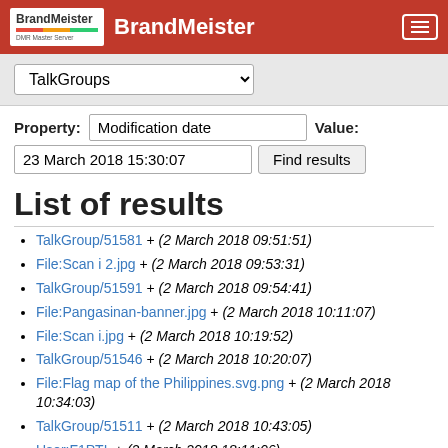BrandMeister
TalkGroups
Property: Modification date   Value:
23 March 2018 15:30:07   Find results
List of results
TalkGroup/51581  +  (2 March 2018 09:51:51)
File:Scan i 2.jpg  +  (2 March 2018 09:53:31)
TalkGroup/51591  +  (2 March 2018 09:54:41)
File:Pangasinan-banner.jpg  +  (2 March 2018 10:11:07)
File:Scan i.jpg  +  (2 March 2018 10:19:52)
TalkGroup/51546  +  (2 March 2018 10:20:07)
File:Flag map of the Philippines.svg.png  +  (2 March 2018 10:34:03)
TalkGroup/51511  +  (2 March 2018 10:43:05)
User:F1PTL  +  (2 March 2018 18:11:06)